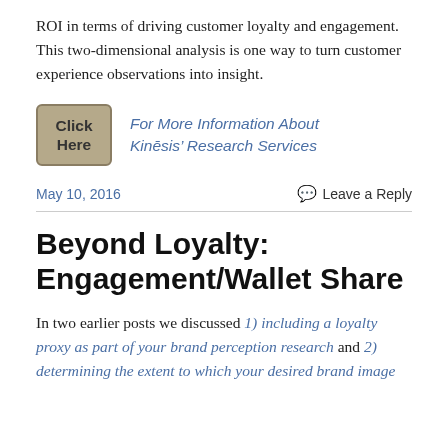ROI in terms of driving customer loyalty and engagement. This two-dimensional analysis is one way to turn customer experience observations into insight.
[Figure (other): Button with 'Click Here' label beside italic blue link text: 'For More Information About Kinēsis' Research Services']
May 10, 2016
Leave a Reply
Beyond Loyalty: Engagement/Wallet Share
In two earlier posts we discussed 1) including a loyalty proxy as part of your brand perception research and 2) determining the extent to which your desired brand image